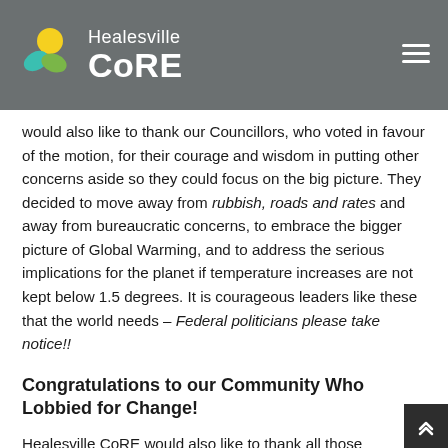Healesville CoRE
would also like to thank our Councillors, who voted in favour of the motion, for their courage and wisdom in putting other concerns aside so they could focus on the big picture. They decided to move away from rubbish, roads and rates and away from bureaucratic concerns, to embrace the bigger picture of Global Warming, and to address the serious implications for the planet if temperature increases are not kept below 1.5 degrees. It is courageous leaders like these that the world needs – Federal politicians please take notice!!
Congratulations to our Community Who Lobbied for Change!
Healesville CoRE would also like to thank all those community members who signed petitions, attended meetings, voted for motions, wrote to individual councillors and who spoke up for the Climate Emergency Declaration. It takes a community to get the motion passed...